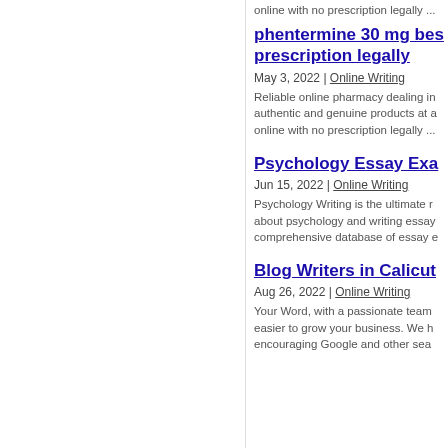online with no prescription legally ...
phentermine 30 mg best prescription legally
May 3, 2022 | Online Writing
Reliable online pharmacy dealing in authentic and genuine products at a online with no prescription legally ...
Psychology Essay Exa...
Jun 15, 2022 | Online Writing
Psychology Writing is the ultimate resource about psychology and writing essay comprehensive database of essay e...
Blog Writers in Calicut
Aug 26, 2022 | Online Writing
Your Word, with a passionate team easier to grow your business. We h encouraging Google and other sea...